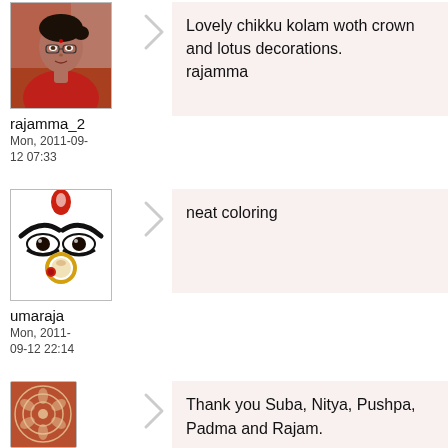[Figure (photo): Avatar photo of an elderly woman in a red saree]
rajamma_2
Mon, 2011-09-12 07:33
Lovely chikku kolam woth crown and lotus decorations.
rajamma
[Figure (illustration): Illustration of a goddess face with decorative eyes and ornaments]
umaraja
Mon, 2011-09-12 22:14
neat coloring
[Figure (photo): Avatar with a circular kolam/rangoli pattern on brown background]
Padma Prakash
Mon, 2011-09-12 22:21
Thank you Suba, Nitya, Pushpa, Padma and Rajam.